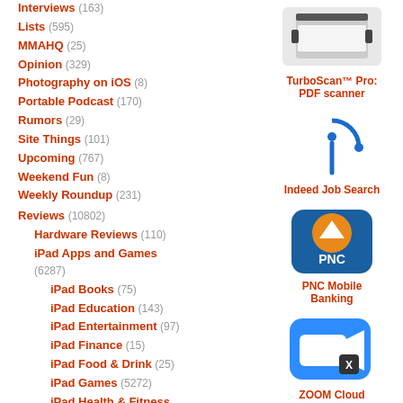Interviews (163)
Lists (595)
MMAHQ (25)
Opinion (329)
Photography on iOS (8)
Portable Podcast (170)
Rumors (29)
Site Things (101)
Upcoming (767)
Weekend Fun (8)
Weekly Roundup (231)
Reviews (10802)
Hardware Reviews (110)
iPad Apps and Games (6287)
iPad Books (75)
iPad Education (143)
iPad Entertainment (97)
iPad Finance (15)
iPad Food & Drink (25)
iPad Games (5272)
iPad Health & Fitness (32)
iPad Lifestyle (35)
[Figure (illustration): TurboScan Pro PDF scanner app icon - scanner device image]
TurboScan™ Pro: PDF scanner
[Figure (illustration): Indeed Job Search app icon - blue arc with dot]
Indeed Job Search
[Figure (illustration): PNC Mobile Banking app icon - blue rounded square with orange PNC logo]
PNC Mobile Banking
[Figure (illustration): ZOOM Cloud Meetings app icon - blue rounded square with white video camera]
ZOOM Cloud Meetings